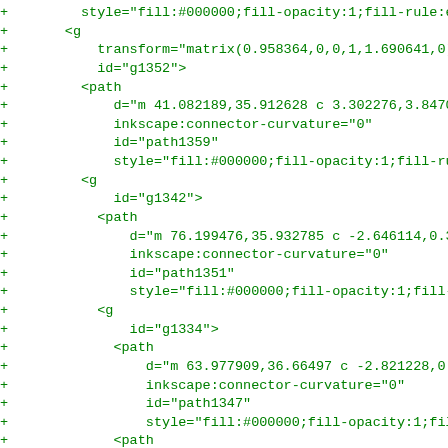Diff/code view showing SVG XML with added lines (green +) containing path elements with transform, id, d, inkscape:connector-curvature, and style attributes for fill:#000000;fill-opacity:1;fill-rule:evenodd